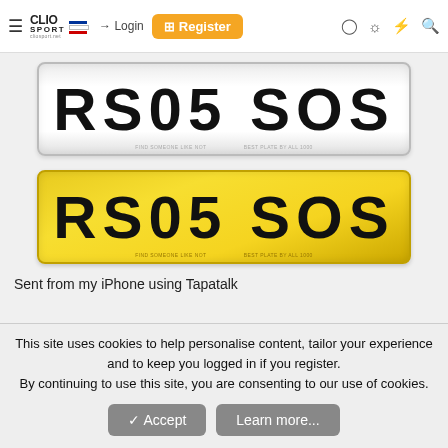ClioSport.net header with Login and Register buttons
[Figure (photo): White UK number plate showing RS05 SOS in black bold text]
[Figure (photo): Yellow UK number plate showing RS05 SOS in black bold text]
Sent from my iPhone using Tapatalk
This site uses cookies to help personalise content, tailor your experience and to keep you logged in if you register. By continuing to use this site, you are consenting to our use of cookies.
Accept   Learn more...